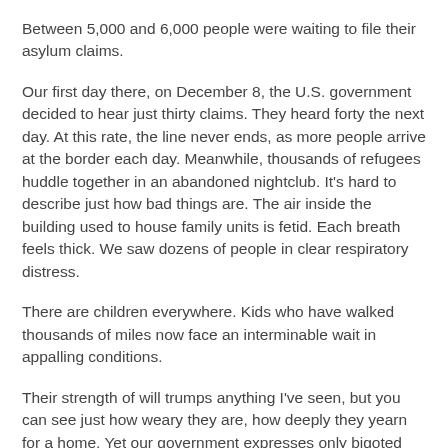Between 5,000 and 6,000 people were waiting to file their asylum claims.
Our first day there, on December 8, the U.S. government decided to hear just thirty claims. They heard forty the next day. At this rate, the line never ends, as more people arrive at the border each day. Meanwhile, thousands of refugees huddle together in an abandoned nightclub. It's hard to describe just how bad things are. The air inside the building used to house family units is fetid. Each breath feels thick. We saw dozens of people in clear respiratory distress.
There are children everywhere. Kids who have walked thousands of miles now face an interminable wait in appalling conditions.
Their strength of will trumps anything I've seen, but you can see just how weary they are, how deeply they yearn for a home. Yet our government expresses only bigoted disdain for their plight:  To walk around the camp and speak with people — to hear the dangers they're fleeing and the hope they carry — is to be filled with blinding rage.
But, despite all of this, love breaks through in a million, myriad ways. Folks laughing, playing soccer; a young boy sharing his only bowl of food with his infant brother, a girl making an immigration lawyer a play-doh heart as she